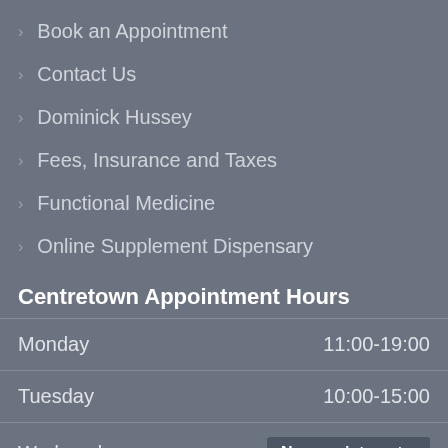Book an Appointment
Contact Us
Dominick Hussey
Fees, Insurance and Taxes
Functional Medicine
Online Supplement Dispensary
Centretown Appointment Hours
| Day | Hours |
| --- | --- |
| Monday | 11:00-19:00 |
| Tuesday | 10:00-15:00 |
| Wednesday | No appointments. |
| Thursday | No appointments. |
| Friday | 10:00-15:00 |